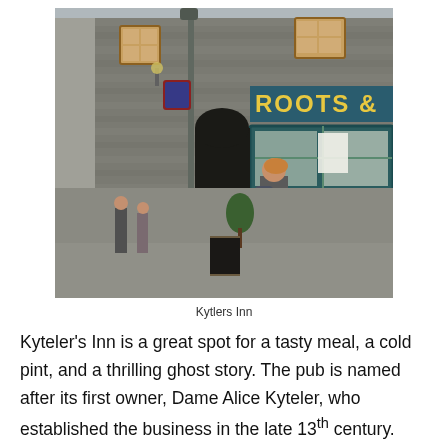[Figure (photo): Exterior photograph of Kytlers Inn, a stone building in Kilkenny, Ireland. A person is seen looking at a notice board on a green-framed shop window. A sign reading 'ROOTS &' is visible. The street is cobblestone with other pedestrians visible in the background.]
Kytlers Inn
Kyteler's Inn is a great spot for a tasty meal, a cold pint, and a thrilling ghost story. The pub is named after its first owner, Dame Alice Kyteler, who established the business in the late 13th century. Alice was considered a witch and blamed for many incidents in Kilkenny, such as the collapsing of the